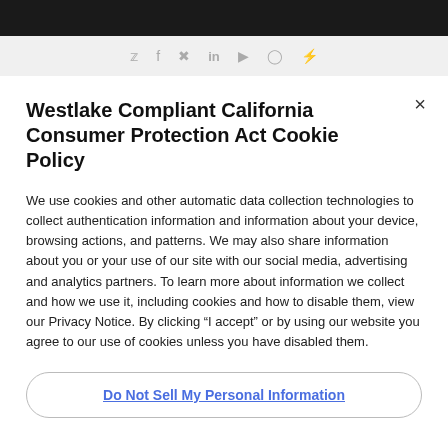Social media icons: Twitter, Facebook, Pinterest, LinkedIn, YouTube, Instagram, Houzz
Westlake Compliant California Consumer Protection Act Cookie Policy
We use cookies and other automatic data collection technologies to collect authentication information and information about your device, browsing actions, and patterns. We may also share information about you or your use of our site with our social media, advertising and analytics partners. To learn more about information we collect and how we use it, including cookies and how to disable them, view our Privacy Notice. By clicking “I accept” or by using our website you agree to our use of cookies unless you have disabled them.
Do Not Sell My Personal Information